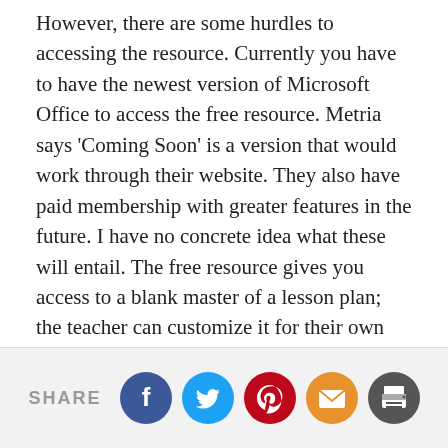However, there are some hurdles to accessing the resource. Currently you have to have the newest version of Microsoft Office to access the free resource. Metria says 'Coming Soon' is a version that would work through their website. They also have paid membership with greater features in the future. I have no concrete idea what these will entail. The free resource gives you access to a blank master of a lesson plan; the teacher can customize it for their own class. Once the document is open, you insert 'My Apps' and select 'Metria Learning.' The app feature is why the newest version of Word was necessary. The app walks a teacher through the lesson by providing a menu of options, starting with a Common Core standard. Each item can be added to the lesson plan document. Once added, the text can be edited, so the lessons are not pre-scripted lessons, but a framework of lessons that make writing lesson plans less daunting to teachers new to
SHARE [social icons: Facebook, Twitter, Pinterest, Email, Print]